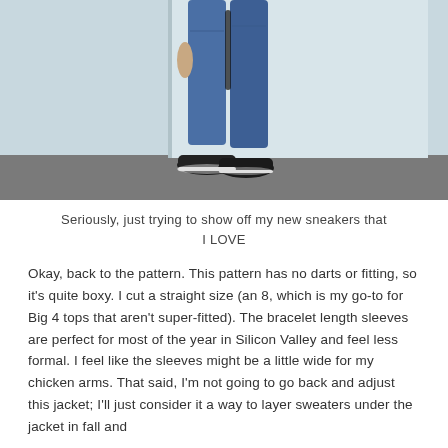[Figure (photo): Person wearing blue jeans, black sneakers, leaning against a light blue-grey wall. Only the lower body from waist down is visible. The person is wearing dark sneakers on a grey concrete floor.]
Seriously, just trying to show off my new sneakers that I LOVE
Okay, back to the pattern. This pattern has no darts or fitting, so it's quite boxy. I cut a straight size (an 8, which is my go-to for Big 4 tops that aren't super-fitted). The bracelet length sleeves are perfect for most of the year in Silicon Valley and feel less formal. I feel like the sleeves might be a little wide for my chicken arms. That said, I'm not going to go back and adjust this jacket; I'll just consider it a way to layer sweaters under the jacket in fall and